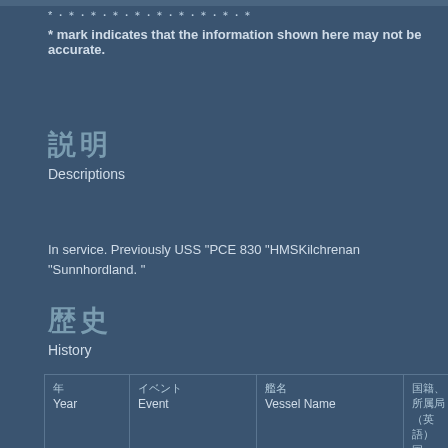* [Japanese characters] * mark indicates that the information shown here may not be accurate.
[Japanese] Descriptions
In service. Previously USS "PCE 830 "HMSKilchrenan "Sunnhordland. "
[Japanese] History
| Year / [JP] | Event / [JP] | Vessel Name / [JP] | [JP] (column 4) |
| --- | --- | --- | --- |
| 1943 | [JP](Built) | PCE-830 / PCE-830 | [JP] (US Navy) |